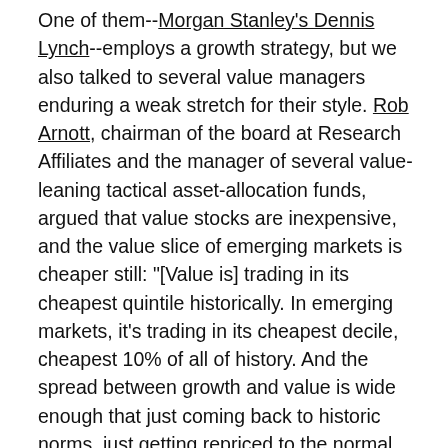One of them--Morgan Stanley's Dennis Lynch--employs a growth strategy, but we also talked to several value managers enduring a weak stretch for their style. Rob Arnott, chairman of the board at Research Affiliates and the manager of several value-leaning tactical asset-allocation funds, argued that value stocks are inexpensive, and the value slice of emerging markets is cheaper still: "[Value is] trading in its cheapest quintile historically. In emerging markets, it's trading in its cheapest decile, cheapest 10% of all of history. And the spread between growth and value is wide enough that just coming back to historic norms, just getting repriced to the normal growth/value valuation spread, would deliver over 2,500 basis points of incremental performance in the U.S. and over 4,000 basis points of incremental performance in emerging markets. So, to me, this looks like a classic long value cycle that has been painful."